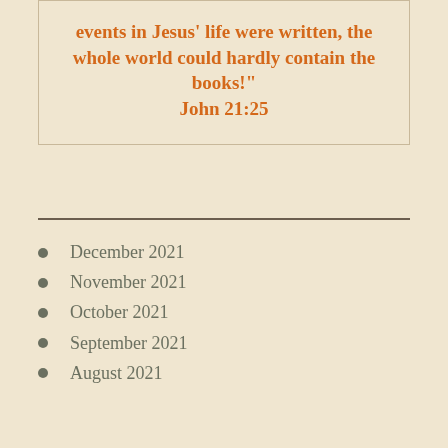events in Jesus' life were written, the whole world could hardly contain the books!"
John 21:25
December 2021
November 2021
October 2021
September 2021
August 2021